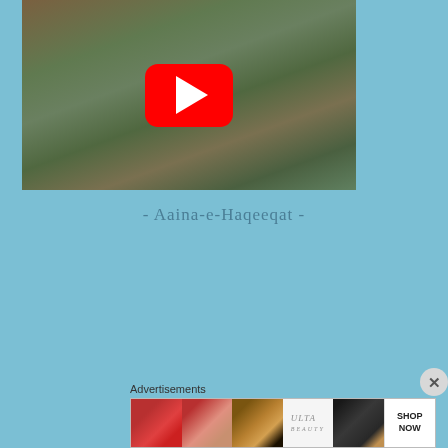[Figure (screenshot): YouTube video thumbnail showing a nature scene with rocks and plants, with a red YouTube play button in the center]
- Aaina-e-Haqeeqat -
Advertisements
[Figure (photo): Advertisement banner showing makeup-related images: red lips, makeup brush, eye with makeup, Ulta Beauty logo, eye with dramatic makeup, and Shop Now button]